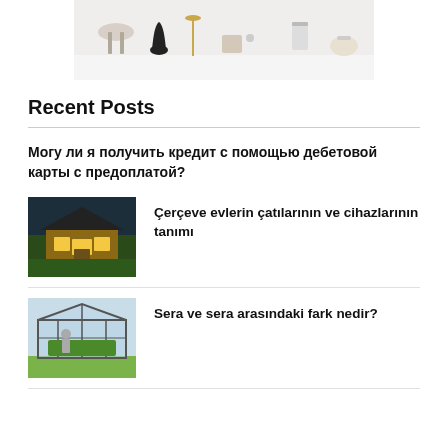[Figure (photo): Photo of various home decor items including a stool, vases, geometric stands, a lantern, and other decorative objects on a white background]
Recent Posts
Могу ли я получить кредит с помощью дебетовой карты с предоплатой?
[Figure (photo): Photo of a modern wooden frame house with a dark roof, lit up at night with warm interior lighting and surrounded by greenery]
Çerçeve evlerin çatılarının ve cihazlarının tanımı
[Figure (photo): Photo of a greenhouse structure made of metal frame and transparent panels, with plants visible inside]
Sera ve sera arasındaki fark nedir?